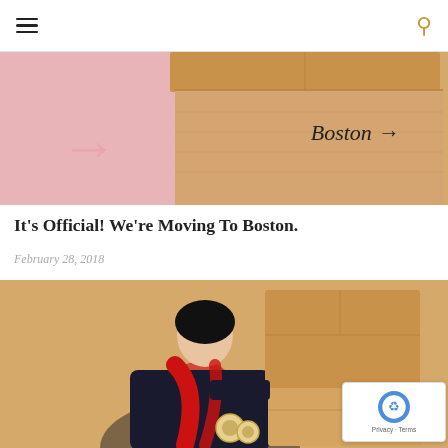Navigation header with hamburger menu and search icon
[Figure (photo): Cardboard moving boxes with pink and tan background; one box has 'Boston →' written in handwriting on it]
It's Official! We're Moving To Boston.
February 28, 2018
[Figure (photo): A smiling woman in a dark jacket and red scarf holding two stacked cardboard boxes and packing tape rolls, against a tan background]